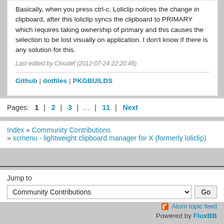Basically, when you press ctrl-c. Loliclip notices the change in clipboard, after this loliclip syncs the clipboard to PRIMARY which requires taking ownership of primary and this causes the selection to be lost visually on application. I don't know if there is any solution for this.
Last edited by Cloudef (2012-07-24 22:20:46)
Github | dotfiles | PKGBUILDS
Pages: 1 | 2 | 3 | … | 11 | Next
Index » Community Contributions » xcmenu - lightweight clipboard manager for X (formerly loliclip)
Jump to
Community Contributions
Atom topic feed
Powered by FluxBB